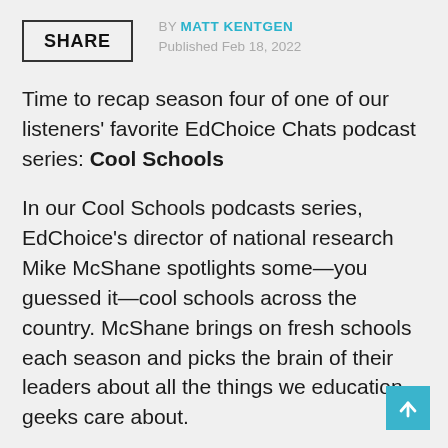SHARE | BY MATT KENTGEN | Published Feb 18, 2022
Time to recap season four of one of our listeners' favorite EdChoice Chats podcast series: Cool Schools
In our Cool Schools podcasts series, EdChoice's director of national research Mike McShane spotlights some—you guessed it—cool schools across the country. McShane brings on fresh schools each season and picks the brain of their leaders about all the things we education geeks care about.
For those of you who may have missed a